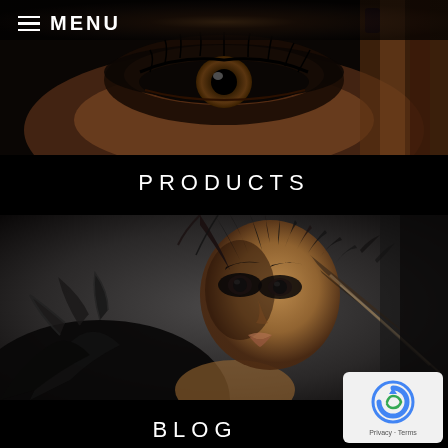≡ MENU
[Figure (photo): Close-up of a glamorous eye with dark makeup and fingers with dark nail polish visible at the edge, dark background]
PRODUCTS
[Figure (photo): Fashion model with dramatic dark feathered headpiece and black feathered outfit, intense dark eye makeup, blonde highlights, dark moody background]
BLOG
[Figure (other): Google reCAPTCHA badge with Privacy and Terms links]